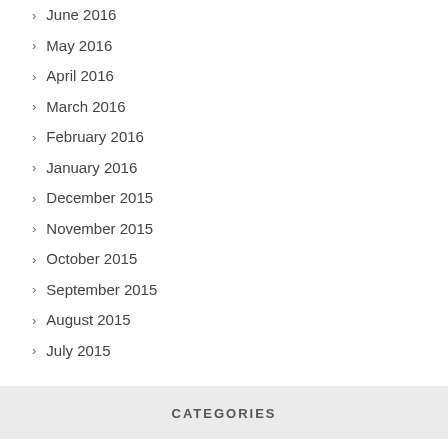June 2016
May 2016
April 2016
March 2016
February 2016
January 2016
December 2015
November 2015
October 2015
September 2015
August 2015
July 2015
CATEGORIES
fashion
Home Life
Kate's Tips